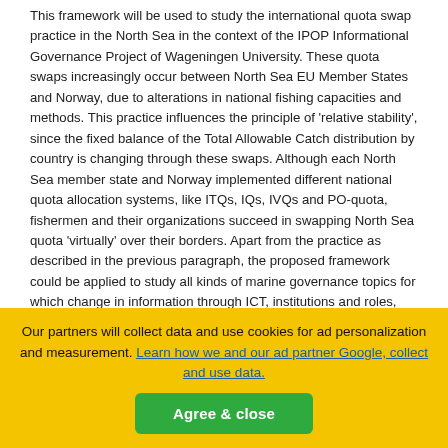This framework will be used to study the international quota swap practice in the North Sea in the context of the IPOP Informational Governance Project of Wageningen University. These quota swaps increasingly occur between North Sea EU Member States and Norway, due to alterations in national fishing capacities and methods. This practice influences the principle of 'relative stability', since the fixed balance of the Total Allowable Catch distribution by country is changing through these swaps. Although each North Sea member state and Norway implemented different national quota allocation systems, like ITQs, IQs, IVQs and PO-quota, fishermen and their organizations succeed in swapping North Sea quota 'virtually' over their borders. Apart from the practice as described in the previous paragraph, the proposed framework could be applied to study all kinds of marine governance topics for which change in information through ICT, institutions and roles, that restructure marine governance, is an issue. Another example concerns the practice
l
Our partners will collect data and use cookies for ad personalization and measurement. Learn how we and our ad partner Google, collect and use data.